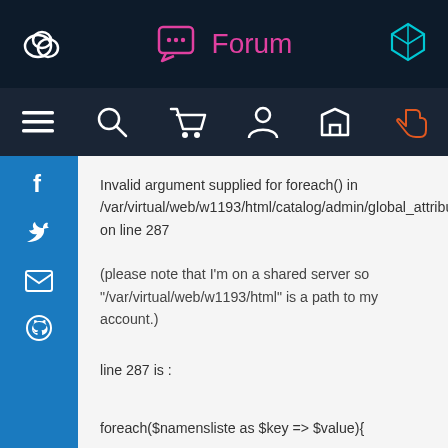Forum
Invalid argument supplied for foreach() in /var/virtual/web/w1193/html/catalog/admin/global_attribute_update.php on line 287
(please note that I'm on a shared server so "/var/virtual/web/w1193/html" is a path to my account.)
line 287 is :
foreach($namensliste as $key => $value){